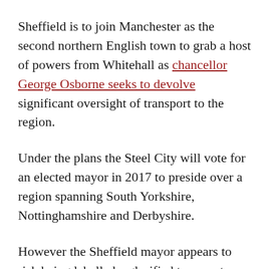Sheffield is to join Manchester as the second northern English town to grab a host of powers from Whitehall as chancellor George Osborne seeks to devolve significant oversight of transport to the region.
Under the plans the Steel City will vote for an elected mayor in 2017 to preside over a region spanning South Yorkshire, Nottinghamshire and Derbyshire.
However the Sheffield mayor appears to risk being labelled a glorified transport commissioner, much like the current mayor of London, as the highlighted policies from a government press release concern little else: